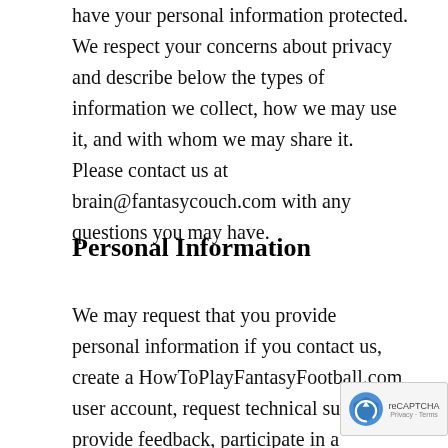have your personal information protected. We respect your concerns about privacy and describe below the types of information we collect, how we may use it, and with whom we may share it. Please contact us at brain@fantasycouch.com with any questions you may have.
Personal Information
We may request that you provide personal information if you contact us, create a HowToPlayFantasyFootball.com user account, request technical support, provide feedback, participate in a promotion, or seek business related opportunities.